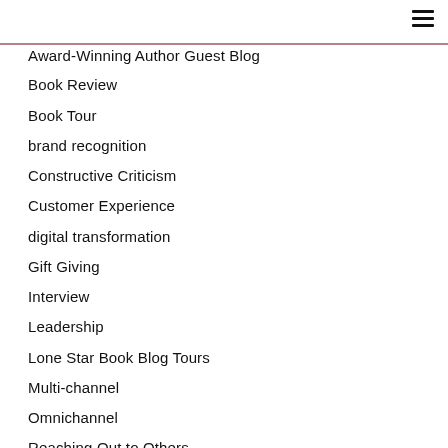Award-Winning Author Guest Blog
Book Review
Book Tour
brand recognition
Constructive Criticism
Customer Experience
digital transformation
Gift Giving
Interview
Leadership
Lone Star Book Blog Tours
Multi-channel
Omnichannel
Reaching Out to Others